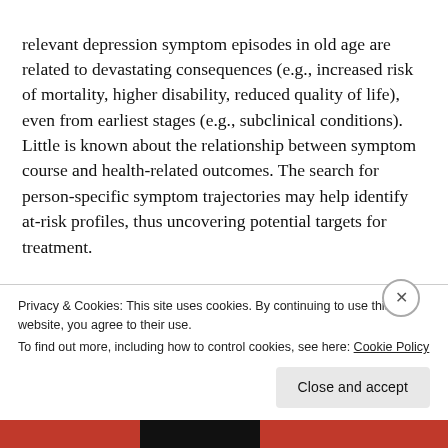relevant depression symptom episodes in old age are related to devastating consequences (e.g., increased risk of mortality, higher disability, reduced quality of life), even from earliest stages (e.g., subclinical conditions). Little is known about the relationship between symptom course and health-related outcomes. The search for person-specific symptom trajectories may help identify at-risk profiles, thus uncovering potential targets for treatment.
Many factors deserve consideration when depression course being studied. Sex constitutes a biological condition highly connected with depression symptom manifestation. Why do women fall into depression more frequently than
Privacy & Cookies: This site uses cookies. By continuing to use this website, you agree to their use.
To find out more, including how to control cookies, see here: Cookie Policy